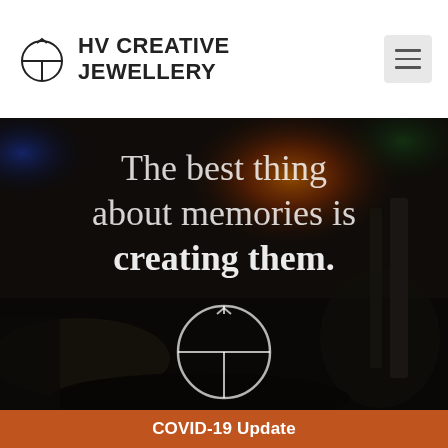HV CREATIVE JEWELLERY
[Figure (photo): Close-up photo of jewellery being crafted with flame, dark moody background with hammers and metal tools, used as hero image with overlay text]
The best thing about memories is creating them.
COVID-19 Update